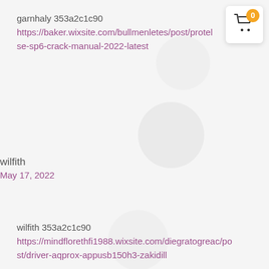garnhaly 353a2c1c90
https://baker.wixsite.com/bullmenletes/post/protelse-sp6-crack-manual-2022-latest
wilfith
May 17, 2022
wilfith 353a2c1c90
https://mindflorethfi1988.wixsite.com/diegratogreac/post/driver-aqprox-appusb150h3-zakidill